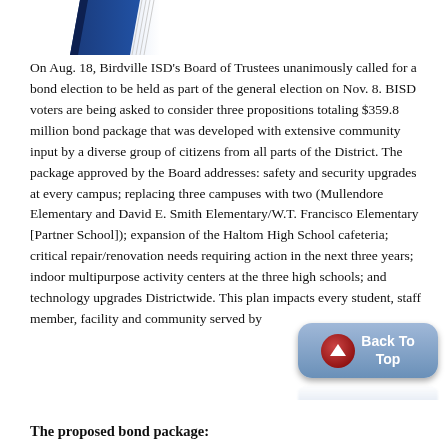[Figure (illustration): Partial image of a book with blue and white cover, cropped at the top of the page]
On Aug. 18, Birdville ISD's Board of Trustees unanimously called for a bond election to be held as part of the general election on Nov. 8. BISD voters are being asked to consider three propositions totaling $359.8 million bond package that was developed with extensive community input by a diverse group of citizens from all parts of the District. The package approved by the Board addresses: safety and security upgrades at every campus; replacing three campuses with two (Mullendore Elementary and David E. Smith Elementary/W.T. Francisco Elementary [Partner School]); expansion of the Haltom High School cafeteria; critical repair/renovation needs requiring action in the next three years; indoor multipurpose activity centers at the three high schools; and technology upgrades Districtwide. This plan impacts every student, staff member, facility and community served by
[Figure (illustration): Back To Top button — a rounded blue/grey button with a red circular up-arrow icon and white bold text reading 'Back To Top']
The proposed bond package: